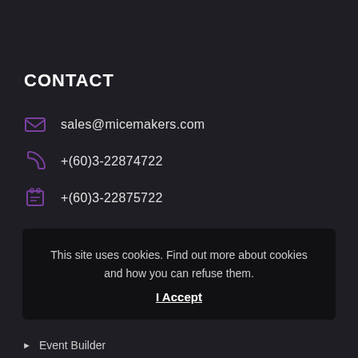CONTACT
sales@micemakers.com
+(60)3-22874722
+(60)3-22875722
This site uses cookies. Find out more about cookies and how you can refuse them.
I Accept
Event Builder